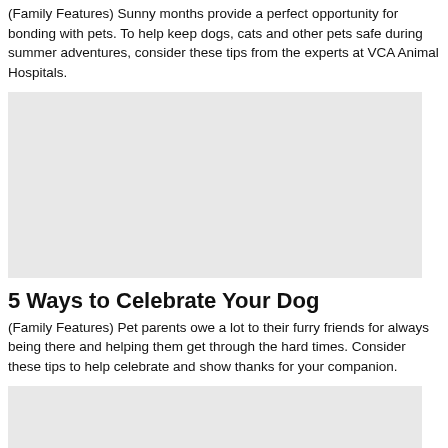(Family Features) Sunny months provide a perfect opportunity for bonding with pets. To help keep dogs, cats and other pets safe during summer adventures, consider these tips from the experts at VCA Animal Hospitals.
[Figure (photo): Placeholder photo — light gray rectangle representing an image related to pet summer safety]
5 Ways to Celebrate Your Dog
(Family Features) Pet parents owe a lot to their furry friends for always being there and helping them get through the hard times. Consider these tips to help celebrate and show thanks for your companion.
[Figure (photo): Placeholder photo — light gray rectangle representing an image related to celebrating dogs]